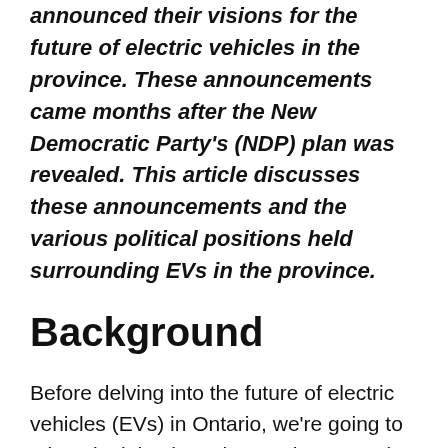announced their visions for the future of electric vehicles in the province. These announcements came months after the New Democratic Party's (NDP) plan was revealed. This article discusses these announcements and the various political positions held surrounding EVs in the province.
Background
Before delving into the future of electric vehicles (EVs) in Ontario, we're going to take a look back on the province's track record